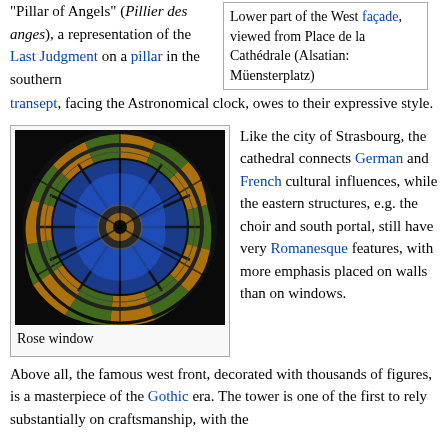"Pillar of Angels" (Pillier des anges), a representation of the Last Judgment on a pillar in the southern transept, facing the Astronomical clock, owes to their expressive style.
[Figure (photo): Upper part of a caption box: Lower part of the West façade, viewed from Place de la Cathédrale (Alsatian: Müensterplatz)]
[Figure (photo): Rose window - a circular stained glass window with intricate blue, green, yellow and orange patterns on a dark background]
Rose window
Like the city of Strasbourg, the cathedral connects German and French cultural influences, while the eastern structures, e.g. the choir and south portal, still have very Romanesque features, with more emphasis placed on walls than on windows.
Above all, the famous west front, decorated with thousands of figures, is a masterpiece of the Gothic era. The tower is one of the first to rely substantially on craftsmanship, with the